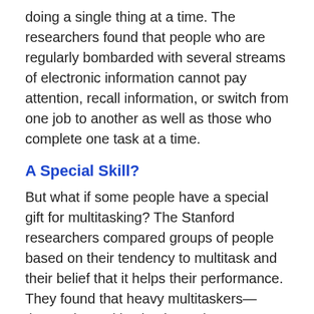doing a single thing at a time. The researchers found that people who are regularly bombarded with several streams of electronic information cannot pay attention, recall information, or switch from one job to another as well as those who complete one task at a time.
A Special Skill?
But what if some people have a special gift for multitasking? The Stanford researchers compared groups of people based on their tendency to multitask and their belief that it helps their performance. They found that heavy multitaskers—those who multitask a lot and